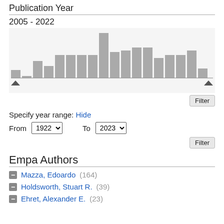Publication Year
2005 - 2022
[Figure (histogram): Publication Year]
Filter
Specify year range: Hide
From  1922 ▾    To   2023 ▾
Filter
Empa Authors
Mazza, Edoardo (164)
Holdsworth, Stuart R. (39)
Ehret, Alexander E. (23)